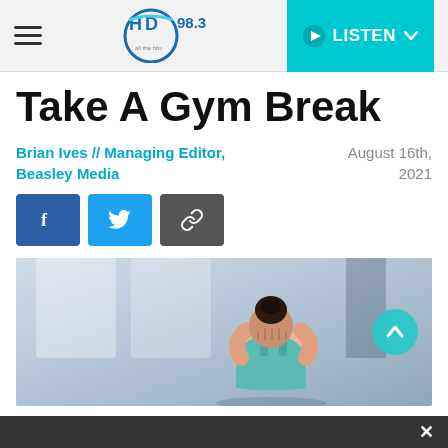HD 98.3 — LISTEN
Take A Gym Break
Brian Ives // Managing Editor, Beasley Media
August 16th, 2021
[Figure (screenshot): Social share buttons: Facebook (blue), Twitter (light blue), Link/copy (dark gray)]
[Figure (photo): Woman in teal athletic wear sitting down with head in hands, appearing tired or stressed, in a gym setting with blurred background]